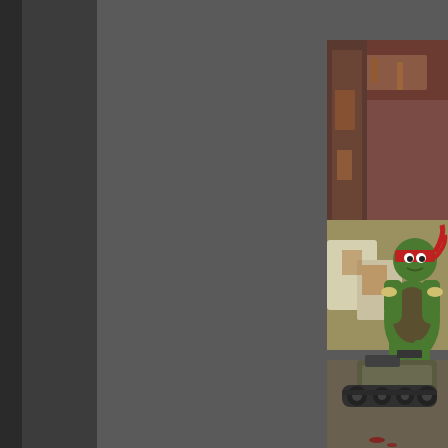more unlikely choices from the G.I. Joe: The Rise of Cobra and Retaliation Firefly's sled:
[Figure (photo): A Teenage Mutant Ninja Turtles action figure (Raphael, identified by red bandana) sitting on a military-style tracked vehicle or sled, photographed in a gritty urban environment with rusted metal and concrete in the background.]